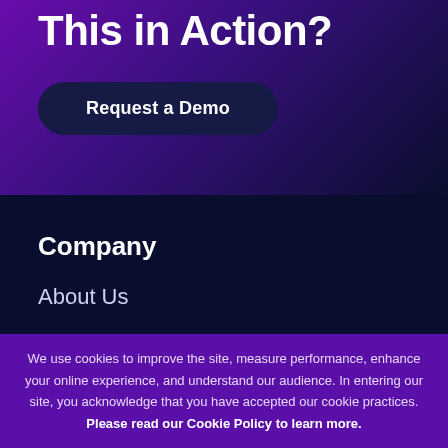This in Action?
Request a Demo
Company
About Us
Careers
Newsroom
We use cookies to improve the site, measure performance, enhance your online experience, and understand our audience. In entering our site, you acknowledge that you have accepted our cookie practices. Please read our Cookie Policy to learn more.